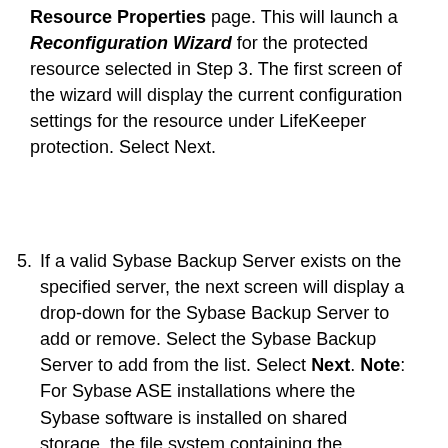Resource Properties page. This will launch a Reconfiguration Wizard for the protected resource selected in Step 3. The first screen of the wizard will display the current configuration settings for the resource under LifeKeeper protection. Select Next.
5. If a valid Sybase Backup Server exists on the specified server, the next screen will display a drop-down for the Sybase Backup Server to add or remove. Select the Sybase Backup Server to add from the list. Select Next. Note: For Sybase ASE installations where the Sybase software is installed on shared storage, the file system containing the